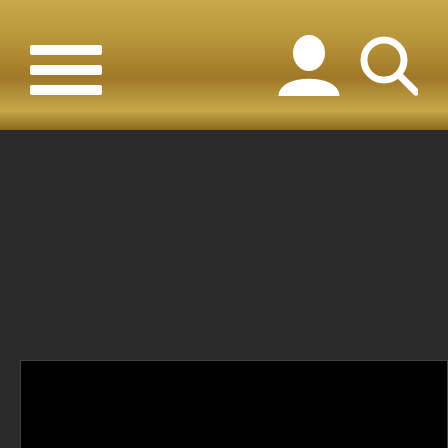Navigation header with hamburger menu, user icon, and search icon
[Figure (screenshot): Dark/black video player area with username label 'SamanthaStarfish' at bottom center]